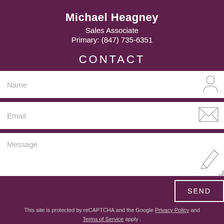Michael Heagney
Sales Associate
Primary:  (847) 735-6351
CONTACT
Name
Email
Message
SEND
This site is protected by reCAPTCHA and the Google Privacy Policy and Terms of Service apply.